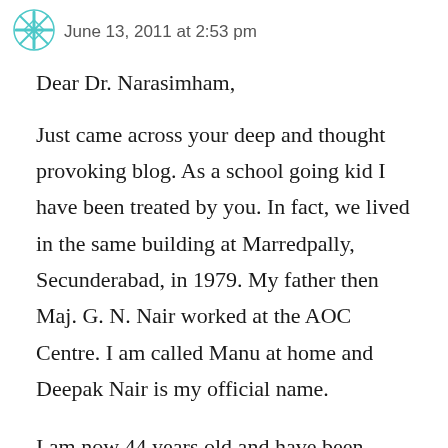June 13, 2011 at 2:53 pm
Dear Dr. Narasimham,
Just came across your deep and thought provoking blog. As a school going kid I have been treated by you. In fact, we lived in the same building at Marredpally, Secunderabad, in 1979. My father then Maj. G. N. Nair worked at the AOC Centre. I am called Manu at home and Deepak Nair is my official name.
I am now 44 years old and have been living in Muscat since the past 19 years. My father retired as a Lt. Col. in 1985 and thereafter was re-employed